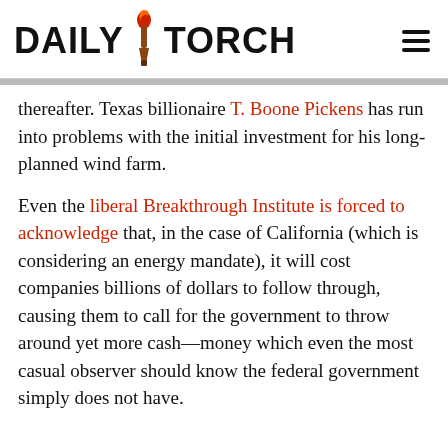DAILY TORCH
thereafter. Texas billionaire T. Boone Pickens has run into problems with the initial investment for his long-planned wind farm.
Even the liberal Breakthrough Institute is forced to acknowledge that, in the case of California (which is considering an energy mandate), it will cost companies billions of dollars to follow through, causing them to call for the government to throw around yet more cash—money which even the most casual observer should know the federal government simply does not have.